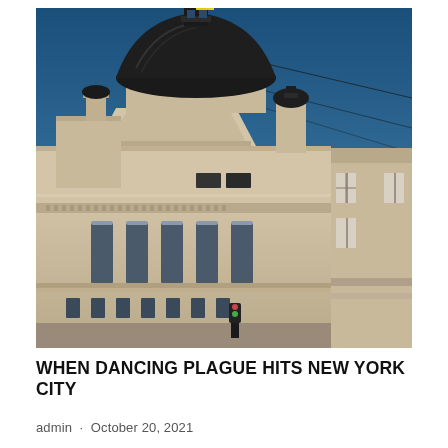[Figure (photo): Photograph of a large neoclassical building with a dark dome topped by a flag (blue and yellow), ornate facade with columns and decorative friezes, set against a bright blue sky with utility wires crossing diagonally. A smaller building is visible to the right.]
WHEN DANCING PLAGUE HITS NEW YORK CITY
admin · October 20, 2021